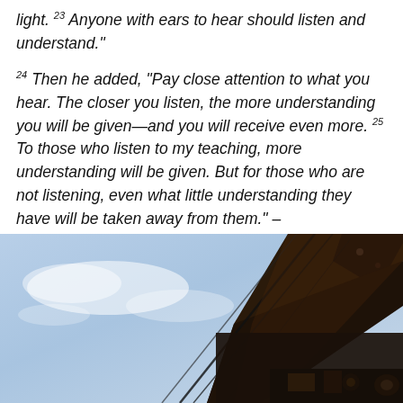light. 23 Anyone with ears to hear should listen and understand."

24 Then he added, “Pay close attention to what you hear. The closer you listen, the more understanding you will be given—and you will receive even more. 25 To those who listen to my teaching, more understanding will be given. But for those who are not listening, even what little understanding they have will be taken away from them.” – Mark 4:13-25
[Figure (photo): A photograph taken from below looking up at rusty, dark metal structural beams or rafters of a damaged or old building against a blue sky with light clouds.]